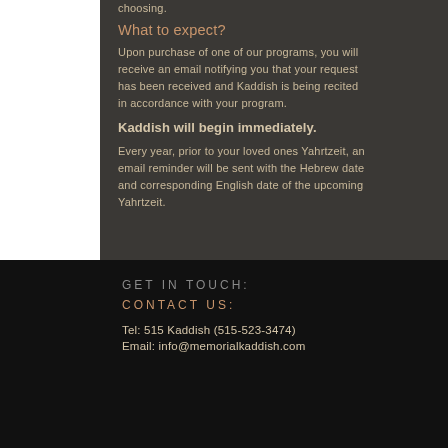choosing.
What to expect?
Upon purchase of one of our programs, you will receive an email notifying you that your request has been received and Kaddish is being recited in accordance with your program.
Kaddish will begin immediately.
Every year, prior to your loved ones Yahrtzeit, an email reminder will be sent with the Hebrew date and corresponding English date of the upcoming Yahrtzeit.
GET IN TOUCH:
CONTACT US:
Tel: 515 Kaddish (515-523-3474)
Email: info@memorialkaddish.com